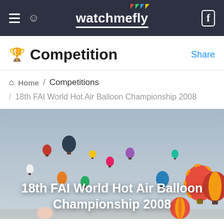watchmefly
Competition
Share
Home / Competitions
/ 18th FAI World Hot Air Balloon Championship 2008
[Figure (photo): Many colorful hot air balloons floating in a blue-grey sky, with a title overlay reading '18th FAI World Hot Air Balloon Championship 2008']